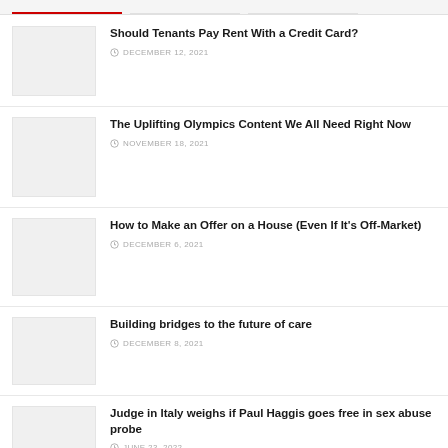Should Tenants Pay Rent With a Credit Card?
DECEMBER 12, 2021
The Uplifting Olympics Content We All Need Right Now
NOVEMBER 18, 2021
How to Make an Offer on a House (Even If It's Off-Market)
DECEMBER 6, 2021
Building bridges to the future of care
DECEMBER 8, 2021
Judge in Italy weighs if Paul Haggis goes free in sex abuse probe
JUNE 23, 2022